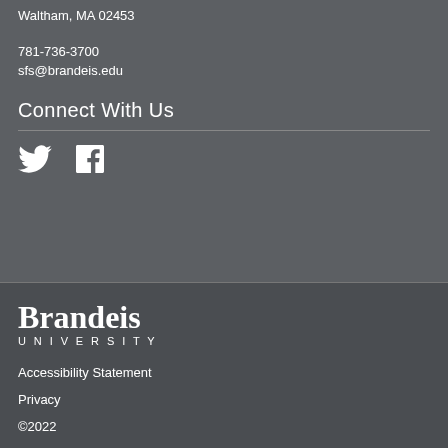Waltham, MA 02453
781-736-3700
sfs@brandeis.edu
Connect With Us
[Figure (illustration): Twitter bird icon and Facebook 'f' icon in white]
[Figure (logo): Brandeis University wordmark logo — 'Brandeis' in large serif bold, 'UNIVERSITY' in small caps spaced lettering below]
Accessibility Statement
Privacy
©2022